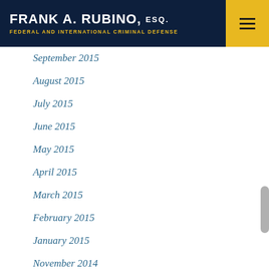FRANK A. RUBINO, ESQ. FEDERAL AND INTERNATIONAL CRIMINAL DEFENSE
September 2015
August 2015
July 2015
June 2015
May 2015
April 2015
March 2015
February 2015
January 2015
November 2014
October 2014
September 2014